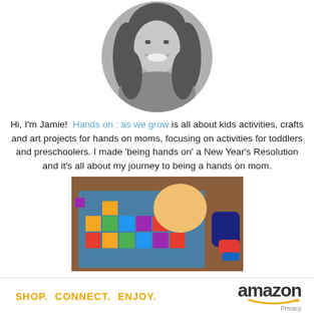[Figure (photo): Black and white circular portrait photo of a smiling woman with long hair]
Hi, I'm Jamie! Hands on : as we grow is all about kids activities, crafts and art projects for hands on moms, focusing on activities for toddlers and preschoolers. I made 'being hands on' a New Year's Resolution and it's all about my journey to being a hands on mom.
[Figure (photo): Color photo of a child playing with colorful wooden building blocks on a wood floor]
SHOP. CONNECT. ENJOY. amazon Privacy